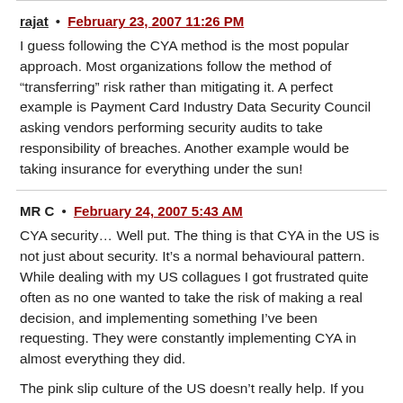rajat • February 23, 2007 11:26 PM
I guess following the CYA method is the most popular approach. Most organizations follow the method of “transferring” risk rather than mitigating it. A perfect example is Payment Card Industry Data Security Council asking vendors performing security audits to take responsibility of breaches. Another example would be taking insurance for everything under the sun!
MR C • February 24, 2007 5:43 AM
CYA security… Well put. The thing is that CYA in the US is not just about security. It’s a normal behavioural pattern. While dealing with my US collagues I got frustrated quite often as no one wanted to take the risk of making a real decision, and implementing something I’ve been requesting. They were constantly implementing CYA in almost everything they did.
The pink slip culture of the US doesn’t really help. If you make a simple mistake, you’re out. In our country that does